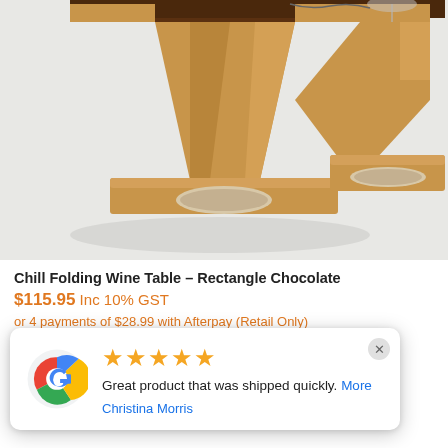[Figure (photo): Photo of a wooden folding wine table (Chill Folding Wine Table – Rectangle Chocolate), light natural wood color with a rectangular cutout handle slot, shown at an angle on a white/light gray surface.]
Chill Folding Wine Table – Rectangle Chocolate
$115.95 Inc 10% GST
or 4 payments of $28.99 with Afterpay (Retail Only)
Great product that was shipped quickly. More
Christina Morris